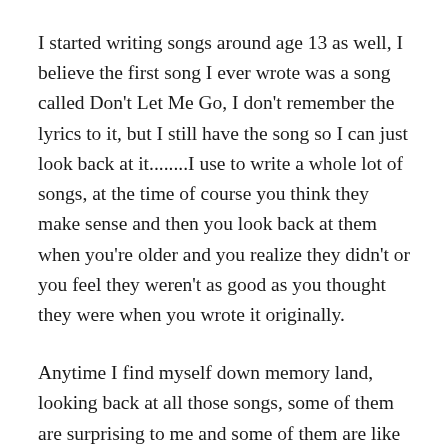I started writing songs around age 13 as well, I believe the first song I ever wrote was a song called Don't Let Me Go, I don't remember the lyrics to it, but I still have the song so I can just look back at it........I use to write a whole lot of songs, at the time of course you think they make sense and then you look back at them when you're older and you realize they didn't or you feel they weren't as good as you thought they were when you wrote it originally.
Anytime I find myself down memory land, looking back at all those songs, some of them are surprising to me and some of them are like “What was I thinking when I wrote this” not all of them are like that though, there's a good amount of them that I actually